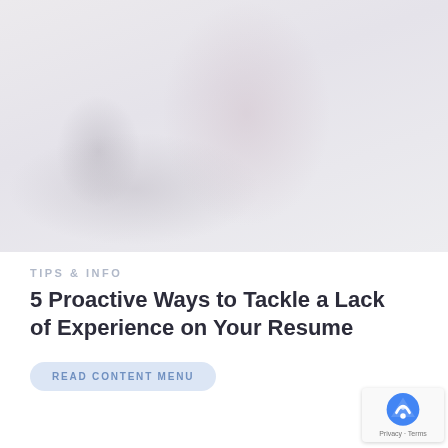[Figure (photo): Faded/washed-out photo of a woman with long dark hair sitting at a desk, appearing to work on something, with a light/white background]
TIPS & INFO
5 Proactive Ways to Tackle a Lack of Experience on Your Resume
READ CONTENT MENU
[Figure (photo): Bottom portion of another photo, partially visible, showing a desk or workspace scene in faded tones]